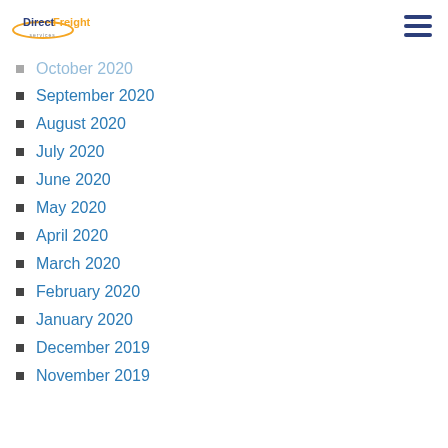DirectFreight Services
October 2020
September 2020
August 2020
July 2020
June 2020
May 2020
April 2020
March 2020
February 2020
January 2020
December 2019
November 2019